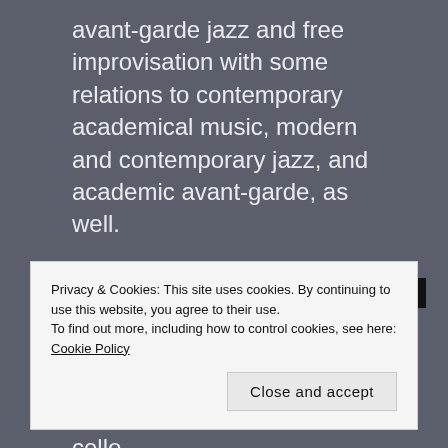avant-garde jazz and free improvisation with some relations to contemporary academical music, modern and contemporary jazz, and academic avant-garde, as well.
[Figure (other): Advertisements banner with dark background and partially visible logo and text]
Catherine S Massicotte violin
Rémy Bélanger de Beauport cello
Privacy & Cookies: This site uses cookies. By continuing to use this website, you agree to their use.
To find out more, including how to control cookies, see here: Cookie Policy